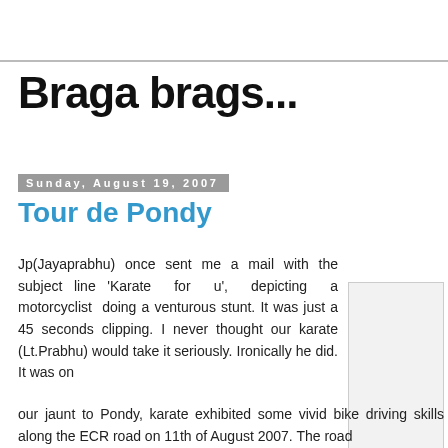Braga brags...
Sunday, August 19, 2007
Tour de Pondy
Jp(Jayaprabhu) once sent me a mail with the subject line 'Karate for u', depicting a motorcyclist doing a venturous stunt. It was just a 45 seconds clipping. I never thought our karate (Lt.Prabhu) would take it seriously. Ironically he did. It was on our jaunt to Pondy, karate exhibited some vivid bike driving skills along the ECR road on 11th of August 2007. The road
[Figure (photo): Embedded image placeholder in blog post]